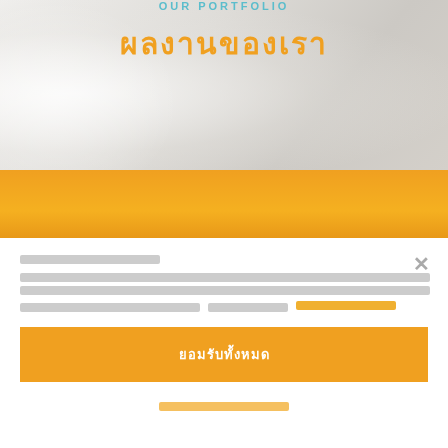[Figure (photo): Hero banner with light grey background showing blurred white fabric/glove texture]
OUR PORTFOLIO
ผลงานของเรา
[Figure (other): Orange/amber gradient horizontal band]
เว็บไซต์นี้มีการใช้คุกกี้
เราใช้คุกกี้เพื่อเพิ่มประสิทธิภาพ และประสบการณ์ที่ดีในการใช้เว็บไซต์ของคุณ คุณสามารถศึกษารายละเอียดได้ที่ นโยบาย "นโยบายความเป็นส่วนตัว" อ่านรายละเอียดเพิ่มเติม
ยอมรับทั้งหมด
ตั้งค่าความเป็นส่วนตัว